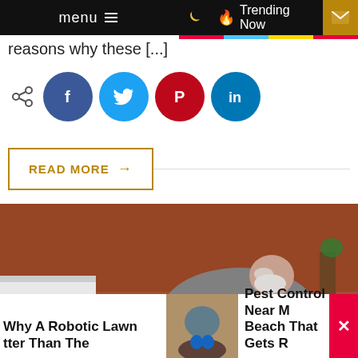menu  Trending Now
reasons why these [...]
[Figure (infographic): Social share icons: share, Facebook, Twitter, Pinterest, LinkedIn]
READ MORE →
[Figure (photo): Pest control worker in grey protective suit and blue gloves kneeling on hardwood floor spraying under furniture with a hose, 48% progress badge]
Why A Robotic Lawn tter Than The
[Figure (photo): Small thumbnail of person doing pest control]
Pest Control Near M Beach That Gets R